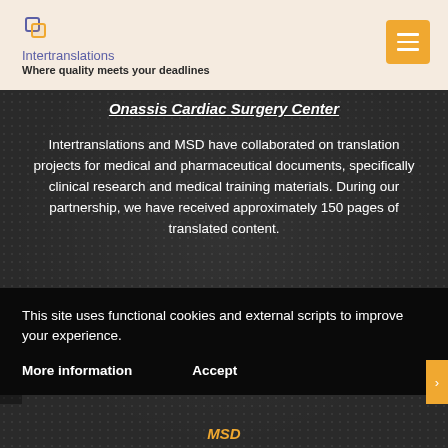Intertranslations — Where quality meets your deadlines
Onassis Cardiac Surgery Center
Intertranslations and MSD have collaborated on translation projects for medical and pharmaceutical documents, specifically clinical research and medical training materials. During our partnership, we have received approximately 150 pages of translated content.
This site uses functional cookies and external scripts to improve your experience.
More information   Accept
[Figure (logo): MSD logo in italic bold orange text at bottom of dark section]